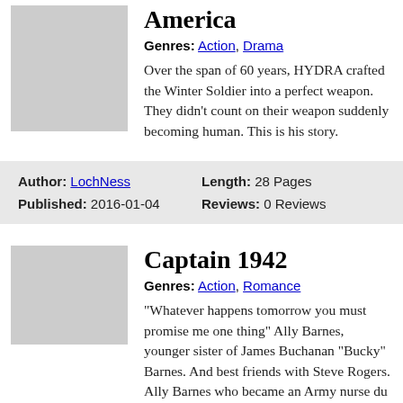[Figure (illustration): Gray placeholder thumbnail image for first story entry]
America
Genres: Action, Drama
Over the span of 60 years, HYDRA crafted the Winter Soldier into a perfect weapon. They didn't count on their weapon suddenly becoming human. This is his story.
Author: LochNess  Length: 28 Pages  Published: 2016-01-04  Reviews: 0 Reviews
[Figure (illustration): Gray placeholder thumbnail image for second story entry]
Captain 1942
Genres: Action, Romance
"Whatever happens tomorrow you must promise me one thing" Ally Barnes, younger sister of James Buchanan "Bucky" Barnes. And best friends with Steve Rogers. Ally Barnes who became an Army nurse du